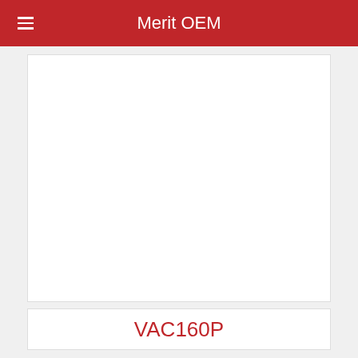Merit OEM
[Figure (photo): Product image area (blank white card) for VAC160P product listing]
VAC160P